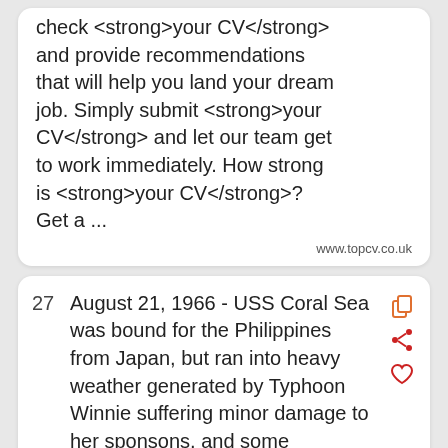check <strong>your CV</strong> and provide recommendations that will help you land your dream job. Simply submit <strong>your CV</strong> and let our team get to work immediately. How strong is <strong>your CV</strong>? Get a ...
www.topcv.co.uk
27  August 21, 1966 - USS Coral Sea was bound for the Philippines from Japan, but ran into heavy weather generated by Typhoon Winnie suffering minor damage to her sponsons, and some exposed equipment. Today's USS Coral Sea Picture
www.usscoralsea.org